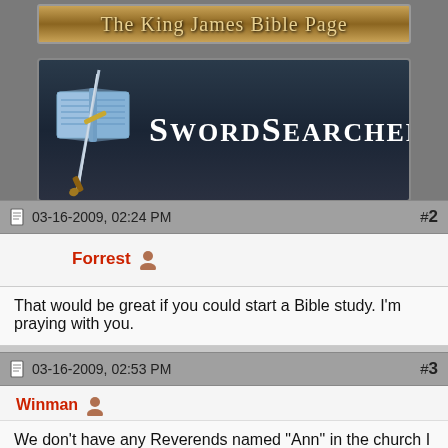[Figure (logo): The King James Bible Page banner with brown/gold gradient background and serif text]
[Figure (logo): SwordSearcher Bible software banner with dark blue background, open book with sword logo, and white bold serif text]
03-16-2009, 02:24 PM  #2
Forrest
That would be great if you could start a Bible study. I'm praying with you.
03-16-2009, 02:53 PM  #3
Winman
We don't have any Reverends named "Ann" in the church I